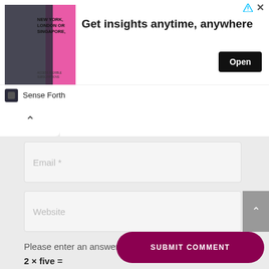[Figure (screenshot): Advertisement banner: image of man in suit with text 'NEW YORK, LONDON OR SINGAPORE,' on left; bold heading 'Get insights anytime, anywhere' in center; black 'Open' button on right. Brand 'Sense Forth' shown below with logo.]
Email *
Website
Please enter an answer in digits:
SUBMIT COMMENT